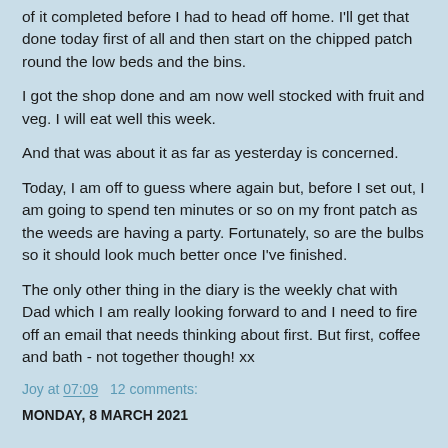of it completed before I had to head off home.  I'll get that done today first of all and then start on the chipped patch round the low beds and the bins.
I got the shop done and am now well stocked with fruit and veg.  I will eat well this week.
And that was about it as far as yesterday is concerned.
Today, I am off to guess where again but, before I set out, I am going to spend ten minutes or so on my front patch as the weeds are having a party.  Fortunately, so are the bulbs so it should look much better once I've finished.
The only other thing in the diary is the weekly chat with Dad which I am really looking forward to and I need to fire off an email that needs thinking about first.  But first, coffee and bath - not together though!  xx
Joy at 07:09   12 comments:
MONDAY, 8 MARCH 2021